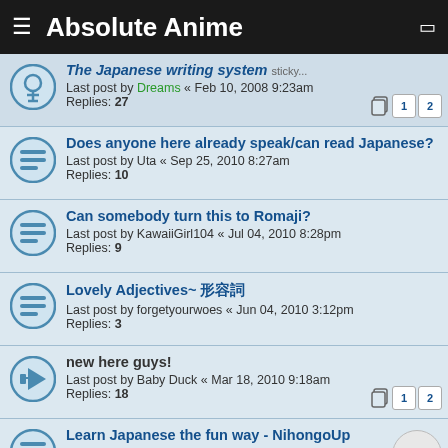Absolute Anime
The Japanese writing system
Last post by Dreams « Feb 10, 2008 9:23am
Replies: 27
Does anyone here already speak/can read Japanese?
Last post by Uta « Sep 25, 2010 8:27am
Replies: 10
Can somebody turn this to Romaji?
Last post by KawaiiGirl104 « Jul 04, 2010 8:28pm
Replies: 9
Lovely Adjectives~ 形容詞
Last post by forgetyourwoes « Jun 04, 2010 3:12pm
Replies: 3
new here guys!
Last post by Baby Duck « Mar 18, 2010 9:18am
Replies: 18
Learn Japanese the fun way - NihongoUp
Last post by ANGEL OF HELL « Aug 24, 2009 8:49pm
Replies: 1
Learning though Anime
Last post by LeoXiao « May 17, 2009 9:39pm
Replies: 8